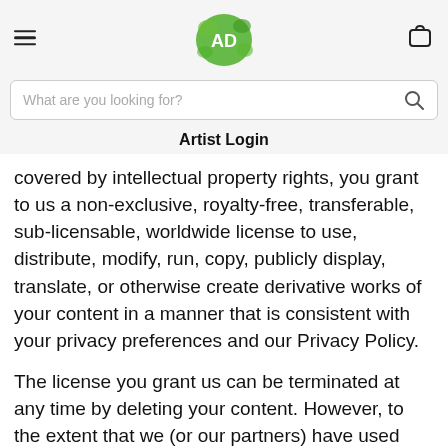Artist Login
covered by intellectual property rights, you grant to us a non-exclusive, royalty-free, transferable, sub-licensable, worldwide license to use, distribute, modify, run, copy, publicly display, translate, or otherwise create derivative works of your content in a manner that is consistent with your privacy preferences and our Privacy Policy.
The license you grant us can be terminated at any time by deleting your content. However, to the extent that we (or our partners) have used your content in connection with our services, we agree to not the license will